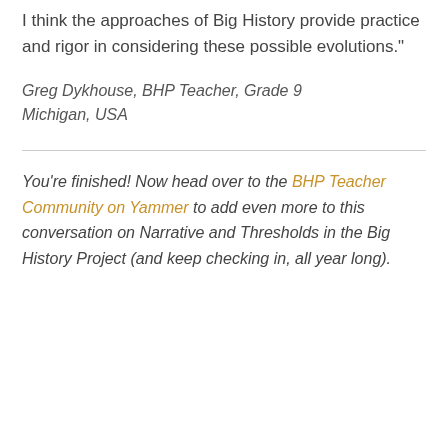I think the approaches of Big History provide practice and rigor in considering these possible evolutions."
Greg Dykhouse, BHP Teacher, Grade 9 Michigan, USA
You're finished! Now head over to the BHP Teacher Community on Yammer to add even more to this conversation on Narrative and Thresholds in the Big History Project (and keep checking in, all year long).